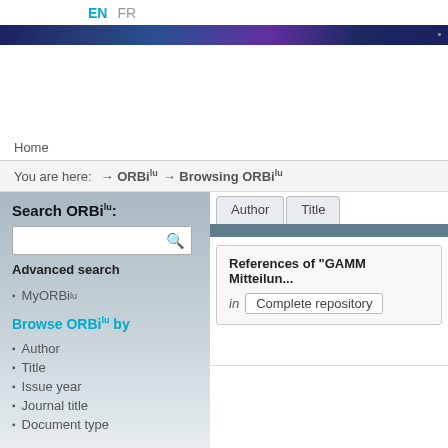EN  FR
[Figure (illustration): Dark blue and purple decorative banner with network/circuit pattern]
Home
You are here:  → ORBilu  → Browsing ORBilu
Search ORBilu:
Advanced search
MyORBilu
Browse ORBilu by
Author
Title
Issue year
Journal title
Document type
Author  Title
References of "GAMM Mitteilun..."
in  Complete repository